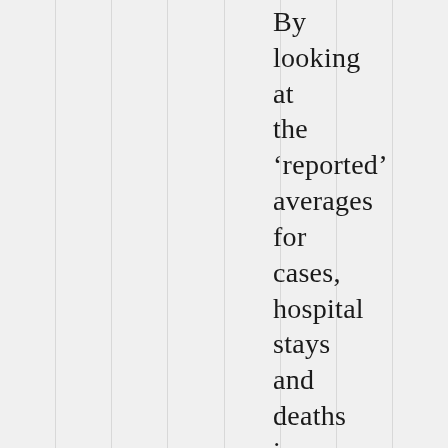By looking at the ‘reported’ averages for cases, hospital stays and deaths in America